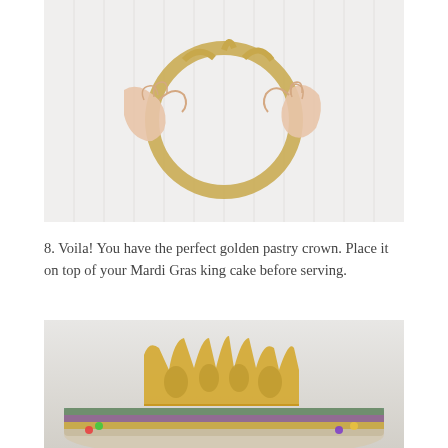[Figure (photo): Overhead view of two hands shaping a circular golden pastry crown on a white paneled surface]
8. Voila! You have the perfect golden pastry crown. Place it on top of your Mardi Gras king cake before serving.
[Figure (photo): Close-up photo of a golden baked pastry crown resting on top of a Mardi Gras king cake, with colorful decorations visible at the base]